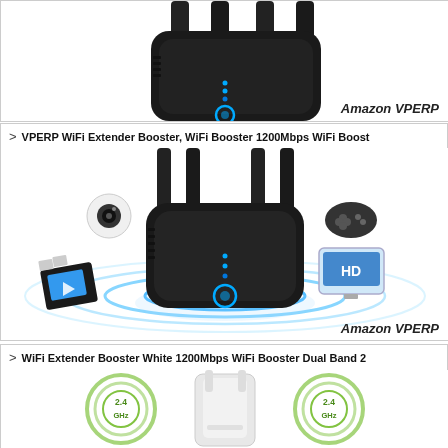[Figure (photo): Top partial view of a black WiFi extender/router with 4 antennas and blue LED lights, partially cropped at top]
Amazon VPERP
> VPERP WiFi Extender Booster, WiFi Booster 1200Mbps WiFi Boost
[Figure (photo): Black WiFi extender/router with 4 antennas surrounded by blue signal rings, with icons for camera, game controller, HD TV, and video player floating around it. Amazon VPERP watermark.]
Amazon VPERP
> WiFi Extender Booster White 1200Mbps WiFi Booster Dual Band 2
[Figure (photo): White WiFi extender device with two cylindrical antennae and two circular 2.4GHz badge icons on either side]